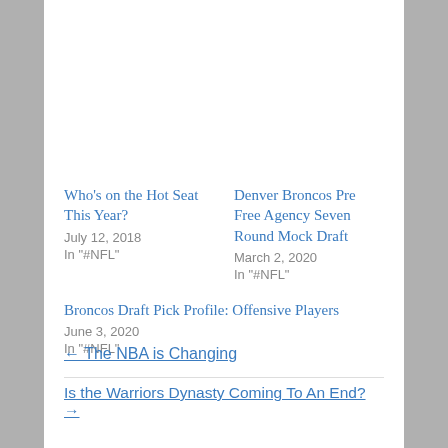Who's on the Hot Seat This Year?
July 12, 2018
In "#NFL"
Denver Broncos Pre Free Agency Seven Round Mock Draft
March 2, 2020
In "#NFL"
Broncos Draft Pick Profile: Offensive Players
June 3, 2020
In "#NFL"
← The NBA is Changing
Is the Warriors Dynasty Coming To An End? →